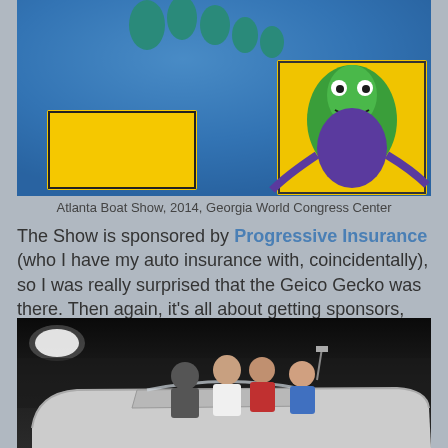[Figure (photo): Close-up photo of a blue fabric surface with teal gecko feet/toes visible and yellow signs with Geico Gecko logo artwork, taken at Atlanta Boat Show 2014]
Atlanta Boat Show, 2014, Georgia World Congress Center
The Show is sponsored by Progressive Insurance (who I have my auto insurance with, coincidentally), so I was really surprised that the Geico Gecko was there. Then again, it's all about getting sponsors, right? It was fun to see the Gecko, but I would really have loved to have seen Flo, who has 5.3 MILLION "Likes" on Facebook!!!
[Figure (photo): People standing in or around a white/silver boat on display in a dark convention hall at the Atlanta Boat Show 2014]